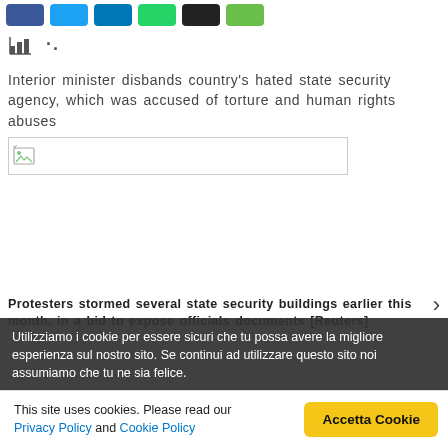[Figure (other): Row of social share buttons: Facebook (blue), Twitter (light blue), LinkedIn (blue), WhatsApp (green), black button, green button]
[Figure (other): Toolbar icons: bar chart icon and two dots/ellipsis]
Interior minister disbands country's hated state security agency, which was accused of torture and human rights abuses
[Figure (photo): Broken/unloaded image placeholder with broken image icon]
Protesters stormed several state security buildings earlier this month, in a bid to expose officials documents [Reuters]
Utilizziamo i cookie per essere sicuri che tu possa avere la migliore esperienza sul nostro sito. Se continui ad utilizzare questo sito noi assumiamo che tu ne sia felice.
This site uses cookies. Please read our Privacy Policy and Cookie Policy